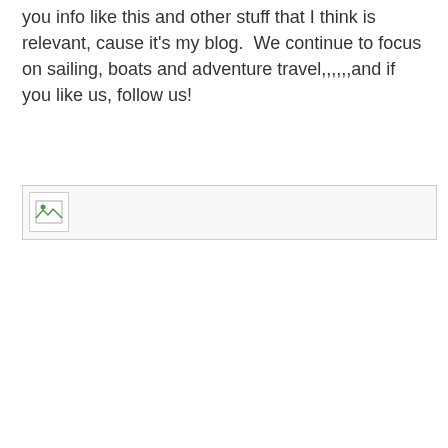you info like this and other stuff that I think is relevant, cause it's my blog.  We continue to focus on sailing, boats and adventure travel,,,,,,and if you like us, follow us!
[Figure (photo): Broken/unloaded image placeholder with a small broken image icon in the top-left corner]